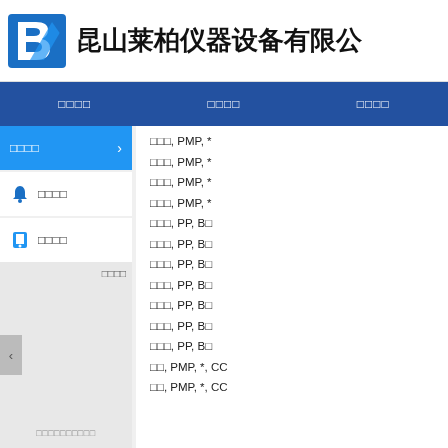[Figure (logo): Blue stylized B logo for Kunshan Laibo Instrument Equipment Co., Ltd.]
昆山莱柏仪器设备有限公
□□□□    □□□□    □□□□
□□□□
□□□□
□□□□
□□□□□□□□□□
□□□, PMP, *
□□□, PMP, *
□□□, PMP, *
□□□, PMP, *
□□□, PP, B□
□□□, PP, B□
□□□, PP, B□
□□□, PP, B□
□□□, PP, B□
□□□, PP, B□
□□□, PP, B□
□□, PMP, *, CC
□□, PMP, *, CC